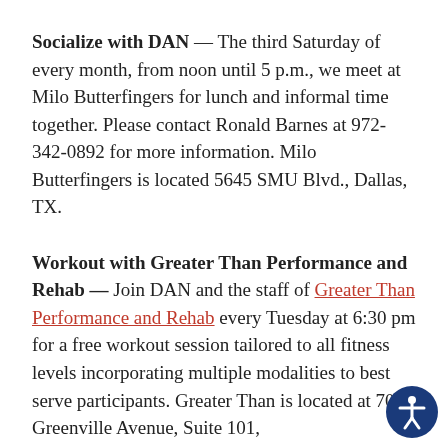Socialize with DAN — The third Saturday of every month, from noon until 5 p.m., we meet at Milo Butterfingers for lunch and informal time together. Please contact Ronald Barnes at 972-342-0892 for more information. Milo Butterfingers is located 5645 SMU Blvd., Dallas, TX.
Workout with Greater Than Performance and Rehab — Join DAN and the staff of Greater Than Performance and Rehab every Tuesday at 6:30 pm for a free workout session tailored to all fitness levels incorporating multiple modalities to best serve participants. Greater Than is located at 7035 Greenville Avenue, Suite 101,